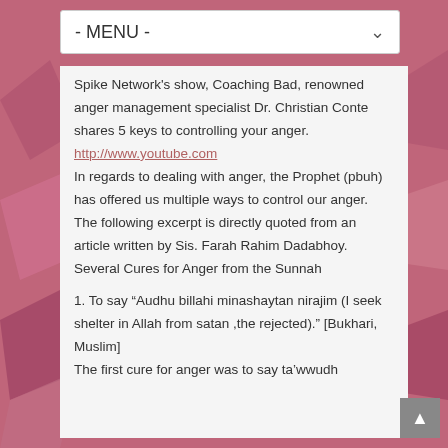- MENU -
Spike Network's show, Coaching Bad, renowned anger management specialist Dr. Christian Conte shares 5 keys to controlling your anger.
http://www.youtube.com
In regards to dealing with anger, the Prophet (pbuh) has offered us multiple ways to control our anger. The following excerpt is directly quoted from an article written by Sis. Farah Rahim Dadabhoy.
Several Cures for Anger from the Sunnah
1. To say “Audhu billahi minashaytan nirajim (I seek shelter in Allah from satan ,the rejected).” [Bukhari, Muslim]
The first cure for anger was to say ta’wwudh